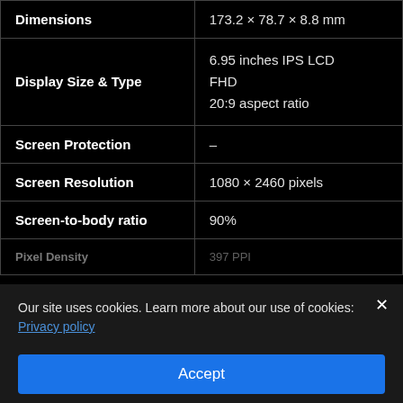| Spec | Value |
| --- | --- |
| Dimensions | 173.2 × 78.7 × 8.8 mm |
| Display Size & Type | 6.95 inches IPS LCD
FHD
20:9 aspect ratio |
| Screen Protection | – |
| Screen Resolution | 1080 × 2460 pixels |
| Screen-to-body ratio | 90% |
| Pixel Density | 397 PPI |
Our site uses cookies. Learn more about our use of cookies: Privacy policy
Accept